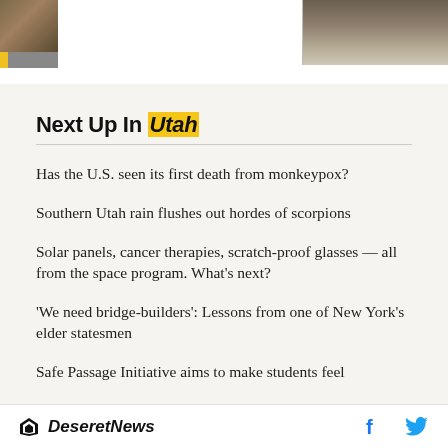[Figure (photo): Two partial photos visible at top: a small brownish/dark image on the left with a yellow vertical bar, and a larger landscape/ground photo on the right showing dirt or mulch.]
Next Up In Utah
Has the U.S. seen its first death from monkeypox?
Southern Utah rain flushes out hordes of scorpions
Solar panels, cancer therapies, scratch-proof glasses — all from the space program. What's next?
'We need bridge-builders': Lessons from one of New York's elder statesmen
Safe Passage Initiative aims to make students feel
Deseret News  f  (Twitter bird)